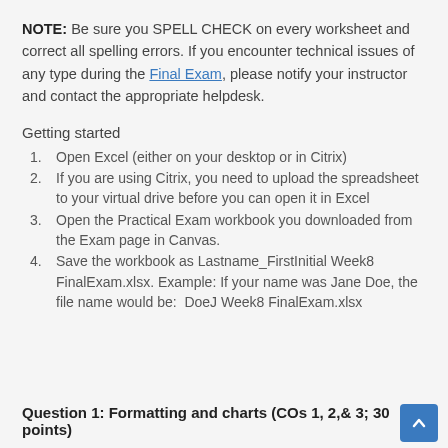NOTE: Be sure you SPELL CHECK on every worksheet and correct all spelling errors. If you encounter technical issues of any type during the Final Exam, please notify your instructor and contact the appropriate helpdesk.
Getting started
Open Excel (either on your desktop or in Citrix)
If you are using Citrix, you need to upload the spreadsheet to your virtual drive before you can open it in Excel
Open the Practical Exam workbook you downloaded from the Exam page in Canvas.
Save the workbook as Lastname_FirstInitial Week8 FinalExam.xlsx. Example: If your name was Jane Doe, the file name would be:  DoeJ Week8 FinalExam.xlsx
Question 1: Formatting and charts (COs 1, 2,& 3; 30 points)